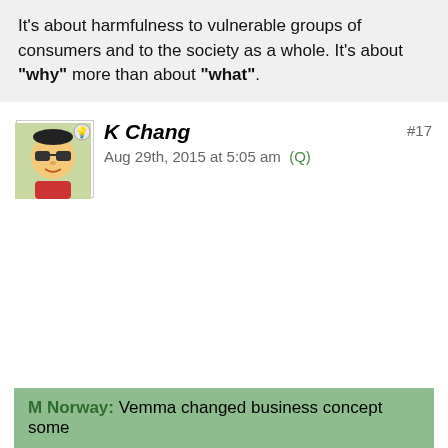It's about harmfulness to vulnerable groups of consumers and to the society as a whole. It's about "why" more than about "what".
K Chang
Aug 29th, 2015 at 5:05 am  (Q)
#17
M Norway: Vemma changed business concept some